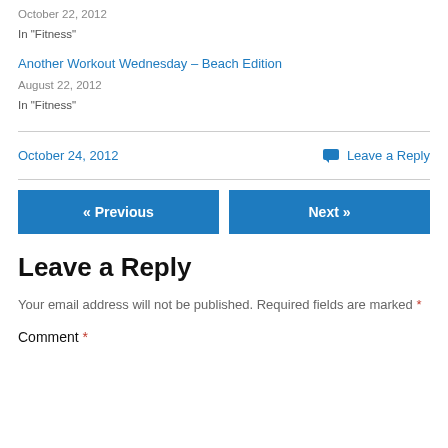October 22, 2012
In "Fitness"
Another Workout Wednesday – Beach Edition
August 22, 2012
In "Fitness"
October 24, 2012  Leave a Reply
« Previous  Next »
Leave a Reply
Your email address will not be published. Required fields are marked *
Comment *